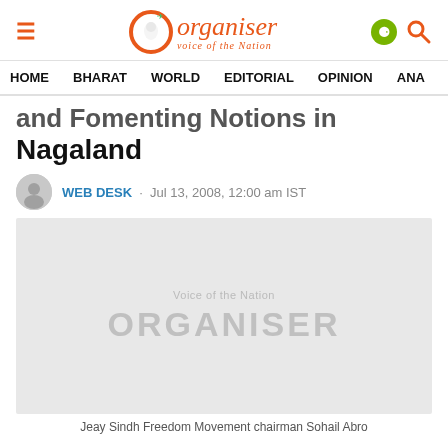Organiser — Voice of the Nation
HOME  BHARAT  WORLD  EDITORIAL  OPINION  ANA
...and Fomenting Notions in Nagaland
WEB DESK · Jul 13, 2008, 12:00 am IST
[Figure (photo): Placeholder image with Organiser logo watermark]
Jeay Sindh Freedom Movement chairman Sohail Abro